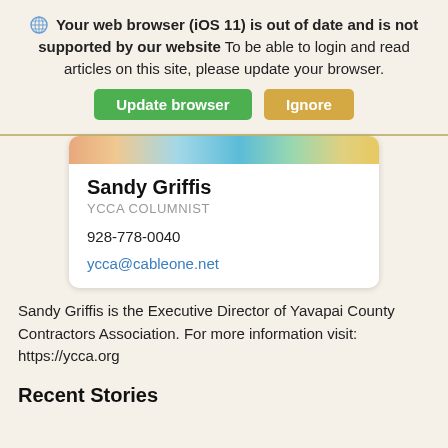🌐 Your web browser (iOS 11) is out of date and is not supported by our website To be able to login and read articles on this site, please update your browser.
Update browser  Ignore
[Figure (screenshot): Author card with decorative banner showing Sandy Griffis, YCCA Columnist, phone 928-778-0040, email ycca@cableone.net]
Sandy Griffis is the Executive Director of Yavapai County Contractors Association. For more information visit: https://ycca.org
Recent Stories